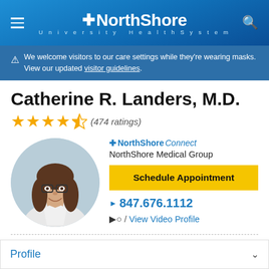NorthShore University HealthSystem
We welcome visitors to our care settings while they're wearing masks. View our updated visitor guidelines.
Catherine R. Landers, M.D.
★★★★½ (474 ratings)
[Figure (photo): Circular portrait photo of Dr. Catherine R. Landers, a woman with long brown hair and glasses, smiling, wearing a white coat]
NorthShore Connect
NorthShore Medical Group
Schedule Appointment
847.676.1112
/ View Video Profile
Profile
Locations